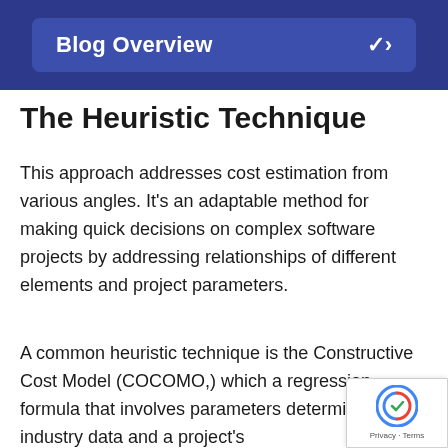Blog Overview
The Heuristic Technique
This approach addresses cost estimation from various angles. It's an adaptable method for making quick decisions on complex software projects by addressing relationships of different elements and project parameters.
A common heuristic technique is the Constructive Cost Model (COCOMO,) which a regression formula that involves parameters determined by industry data and a project's